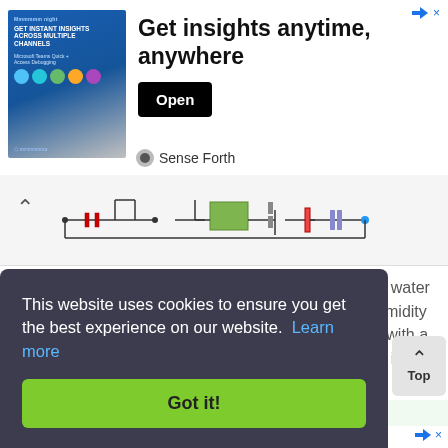[Figure (screenshot): Advertisement banner for 'Sense Forth' with text 'Get instant insights across multiple channels' and an image of a woman with data icons. Contains 'Get insights anytime, anywhere' headline and an 'Open' button.]
[Figure (schematic): Partial circuit/schematic diagram strip showing electronic components including resistors, capacitors, and other elements on a circuit board layout.]
Many times for various reasons we forget or can not water the plants that we have in our homes. And many humidity sensors units just notify us with a beeping sound or with a flashing light, that the pot needs watering. But what if we are away from home? This....
[Figure (screenshot): Cookie consent banner with dark background reading 'This website uses cookies to ensure you get the best experience on our website. Learn more' and a green 'Got it!' button.]